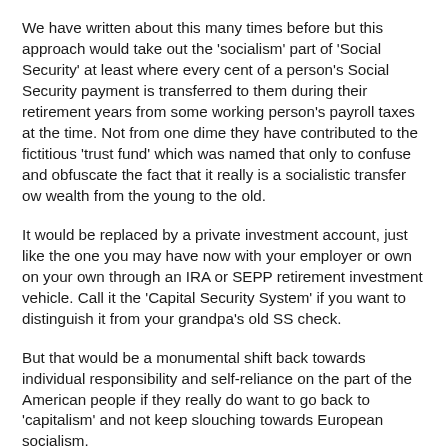We have written about this many times before but this approach would take out the 'socialism' part of 'Social Security' at least where every cent of a person's Social Security payment is transferred to them during their retirement years from some working person's payroll taxes at the time. Not from one dime they have contributed to the fictitious 'trust fund' which was named that only to confuse and obfuscate the fact that it really is a socialistic transfer ow wealth from the young to the old.
It would be replaced by a private investment account, just like the one you may have now with your employer or own on your own through an IRA or SEPP retirement investment vehicle. Call it the 'Capital Security System' if you want to distinguish it from your grandpa's old SS check.
But that would be a monumental shift back towards individual responsibility and self-reliance on the part of the American people if they really do want to go back to 'capitalism' and not keep slouching towards European socialism.